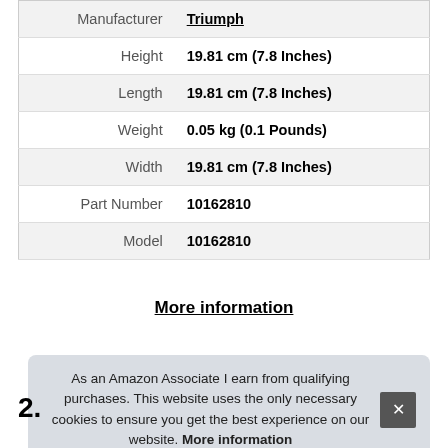| Property | Value |
| --- | --- |
| Manufacturer | Triumph |
| Height | 19.81 cm (7.8 Inches) |
| Length | 19.81 cm (7.8 Inches) |
| Weight | 0.05 kg (0.1 Pounds) |
| Width | 19.81 cm (7.8 Inches) |
| Part Number | 10162810 |
| Model | 10162810 |
More information
As an Amazon Associate I earn from qualifying purchases. This website uses the only necessary cookies to ensure you get the best experience on our website. More information
2.